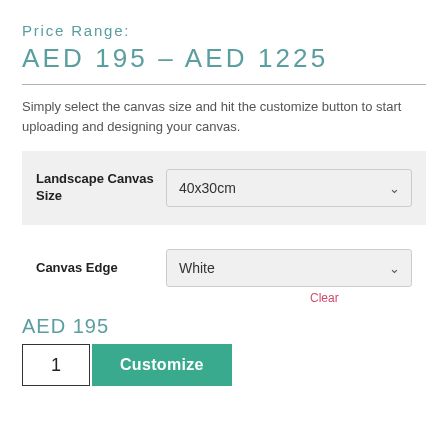Price Range:
AED 195 – AED 1225
Simply select the canvas size and hit the customize button to start uploading and designing your canvas.
| Field | Value |
| --- | --- |
| Landscape Canvas Size | 40x30cm |
| Canvas Edge | White |
Clear
AED 195
1
Customize